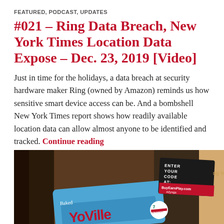FEATURED, PODCAST, UPDATES
#021 – Ring Data Breach, New York Times Location Data Expose – Dec. 23, 2019 [Video]
Just in time for the holidays, a data breach at security hardware maker Ring (owned by Amazon) reminds us how sensitive smart device access can be. And a bombshell New York Times report shows how readily available location data can allow almost anyone to be identified and tracked. Continue reading
RYAN OZAWA / DECEMBER 23, 2019 / LEAVE A COMMENT
[Figure (photo): Photo showing snack food packaging including a YoVille branded item with a 7-Eleven logo and a sticker reading 'ENTER YOUR CODE AT: BuyEarnPlay.com #Zynga']